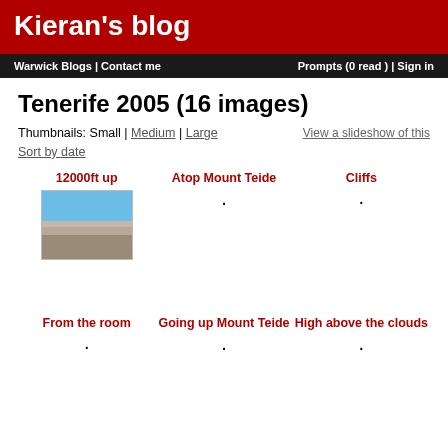Kieran's blog
Warwick Blogs | Contact me    Prompts (0 read ) |  Sign in
Tenerife 2005 (16 images)
Thumbnails: Small | Medium | Large    View a slideshow of this
Sort by date
12000ft up
[Figure (photo): Thumbnail photo taken at 12000ft up in Tenerife, showing blue sky and rocky terrain]
Atop Mount Teide
Cliffs
From the room
Going up Mount Teide
High above the clouds